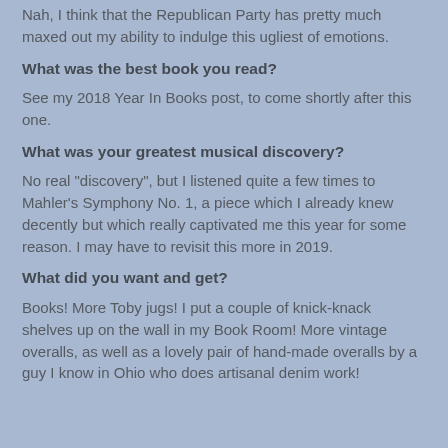Nah, I think that the Republican Party has pretty much maxed out my ability to indulge this ugliest of emotions.
What was the best book you read?
See my 2018 Year In Books post, to come shortly after this one.
What was your greatest musical discovery?
No real "discovery", but I listened quite a few times to Mahler's Symphony No. 1, a piece which I already knew decently but which really captivated me this year for some reason. I may have to revisit this more in 2019.
What did you want and get?
Books! More Toby jugs! I put a couple of knick-knack shelves up on the wall in my Book Room! More vintage overalls, as well as a lovely pair of hand-made overalls by a guy I know in Ohio who does artisanal denim work!